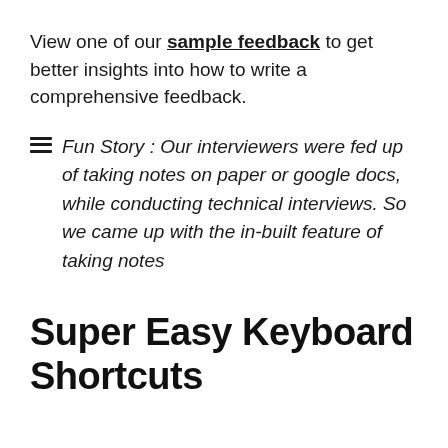View one of our sample feedback to get better insights into how to write a comprehensive feedback.
Fun Story : Our interviewers were fed up of taking notes on paper or google docs, while conducting technical interviews. So we came up with the in-built feature of taking notes
Super Easy Keyboard Shortcuts